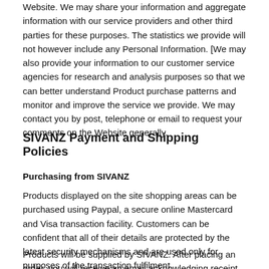Website. We may share your information and aggregate information with our service providers and other third parties for these purposes. The statistics we provide will not however include any Personal Information. [We may also provide your information to our customer service agencies for research and analysis purposes so that we can better understand Product purchase patterns and monitor and improve the service we provide. We may contact you by post, telephone or email to request your comments on the Website generally.
SIVANZ Payment and Shipping Policies
Purchasing from SIVANZ
Products displayed on the site shopping areas can be purchased using Paypal, a secure online Mastercard and Visa transaction facility. Customers can be confident that all of their details are protected by the latest security mechanisms and are used only for purposes of the transaction fulfilment.
Products will be supplied by SIVANZ. After placing an order, you will receive an email acknowledging receipt of your order. This does not mean that your order has been accepted. Your order constitutes an